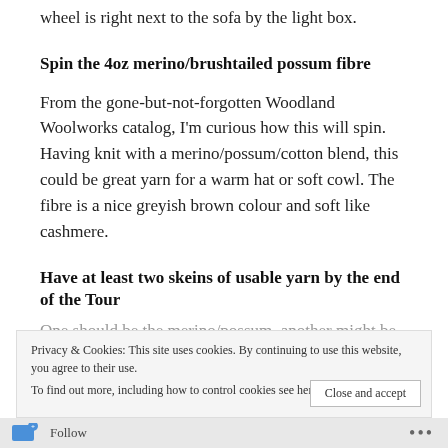wheel is right next to the sofa by the light box.
Spin the 4oz merino/brushtailed possum fibre
From the gone-but-not-forgotten Woodland Woolworks catalog, I'm curious how this will spin. Having knit with a merino/possum/cotton blend, this could be great yarn for a warm hat or soft cowl. The fibre is a nice greyish brown colour and soft like cashmere.
Have at least two skeins of usable yarn by the end of the Tour
One should be the merino/possum, another might be the camel/silk fibre, I just need to spin the second bobbin and ply. I might spin some Jacob, or Cormo,
Privacy & Cookies: This site uses cookies. By continuing to use this website, you agree to their use.
To find out more, including how to control cookies see here: Cookie Policy
Close and accept
Follow